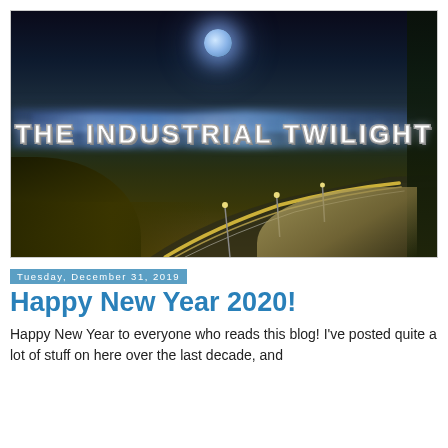[Figure (photo): Night cityscape with highway curves and light trails, moon in sky, hills in foreground. Blog header image with overlay text 'THE INDUSTRIAL TWILIGHT']
Tuesday, December 31, 2019
Happy New Year 2020!
Happy New Year to everyone who reads this blog! I've posted quite a lot of stuff on here over the last decade, and